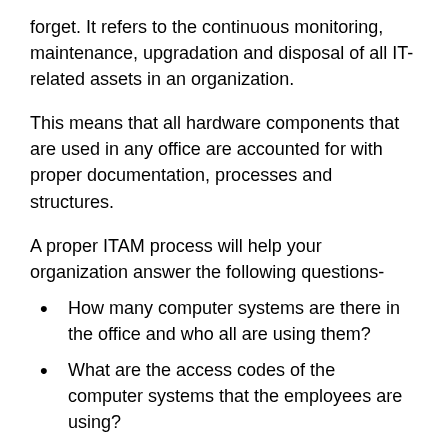forget. It refers to the continuous monitoring, maintenance, upgradation and disposal of all IT-related assets in an organization.
This means that all hardware components that are used in any office are accounted for with proper documentation, processes and structures.
A proper ITAM process will help your organization answer the following questions-
How many computer systems are there in the office and who all are using them?
What are the access codes of the computer systems that the employees are using?
Where are the access points located when it comes to software, files and